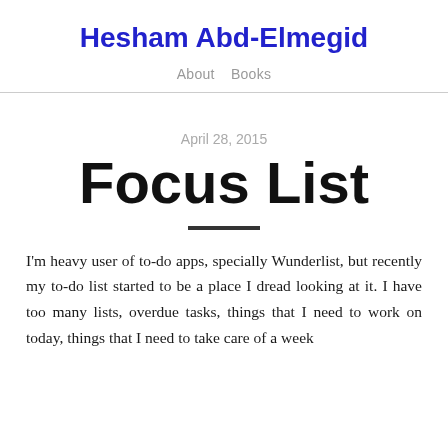Hesham Abd-Elmegid
About   Books
April 28, 2015
Focus List
I'm heavy user of to-do apps, specially Wunderlist, but recently my to-do list started to be a place I dread looking at it. I have too many lists, overdue tasks, things that I need to work on today, things that I need to take care of a week